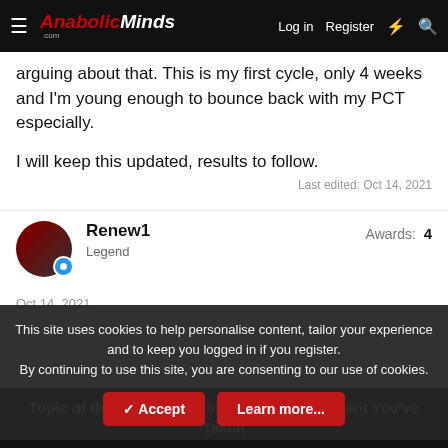AnabolicMinds.com | Log in | Register
arguing about that. This is my first cycle, only 4 weeks and I'm young enough to bounce back with my PCT especially.

I will keep this updated, results to follow.
Last edited: Oct 14, 2021
Renew1 | Awards: 4 | Legend
Oct 14, 2021
This site uses cookies to help personalise content, tailor your experience and to keep you logged in if you register.
By continuing to use this site, you are consenting to our use of cookies.
Accept | Learn more...
Topic of the Week: The Single Best Supplement You've Taken